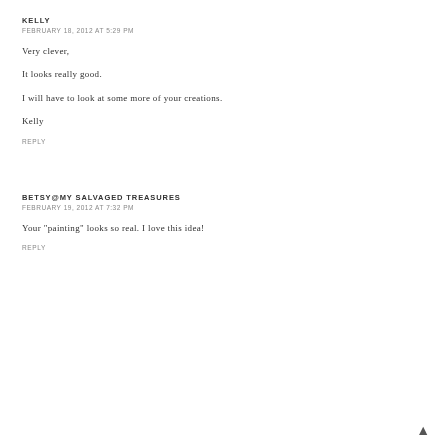KELLY
FEBRUARY 18, 2012 AT 5:29 PM
Very clever,
It looks really good.
I will have to look at some more of your creations.
Kelly
REPLY
BETSY@MY SALVAGED TREASURES
FEBRUARY 19, 2012 AT 7:32 PM
Your "painting" looks so real. I love this idea!
REPLY